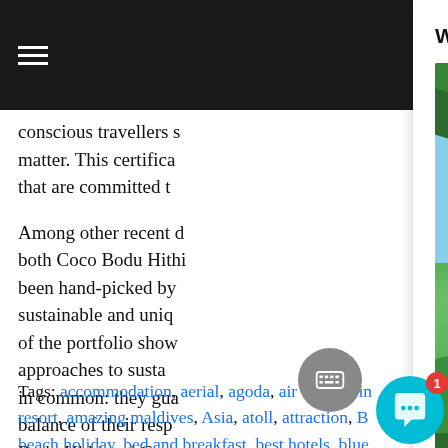☰ (hamburger menu icon)
conscious travellers s matter. This certifica that are committed t
Among other recent d both Coco Bodu Hithi been hand-picked by sustainable and uniq of the portfolio show approaches to susta in common: they gua balance of their resp Bodu Hithi and Coco P associated with this.
Tags: accommodation, aerial, agoda, air taxi, all in resort, amazing maldives, Asia, atoll, attraction, B beach holiday, bed and breakfast, best hotels, blue
Would you like to book a holiday?
[Figure (photo): Tropical garden path with tall palm trees and lush green foliage leading to a beach with clear blue sky]
Click "yes" if you wish to request a holiday quotation from the maldives.com team :)